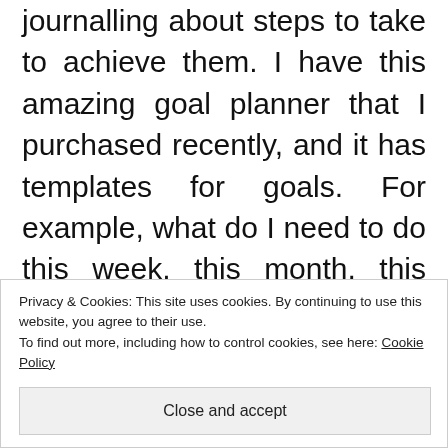journalling about steps to take to achieve them. I have this amazing goal planner that I purchased recently, and it has templates for goals. For example, what do I need to do this week, this month, this year, etc.
What I also really like is that this planner has a section where you are to list out the reasons you want your goal. This may seem like a no brainer t... r s... s c... s c... s
Privacy & Cookies: This site uses cookies. By continuing to use this website, you agree to their use. To find out more, including how to control cookies, see here: Cookie Policy
Close and accept